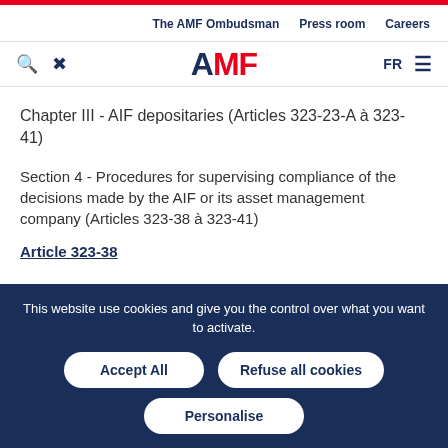The AMF Ombudsman | Press room | Careers
[Figure (logo): AMF logo with search and tools icons, FR language selector and hamburger menu]
Chapter III - AIF depositaries (Articles 323-23-A à 323-41)
Section 4 - Procedures for supervising compliance of the decisions made by the AIF or its asset management company (Articles 323-38 à 323-41)
Article 323-38
This website use cookies and give you the control over what you want to activate.